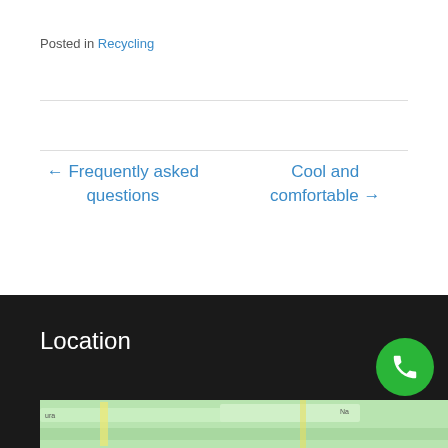Posted in Recycling
← Frequently asked questions
Cool and comfortable →
Location
[Figure (map): Street map showing location area with green terrain and road overlay]